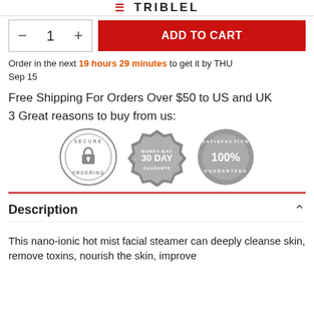TRIBLEL
[Figure (screenshot): Quantity selector with minus button, number 1, and plus button. Add to cart red button.]
Order in the next 19 hours 29 minutes to get it by THU Sep 15
Free Shipping For Orders Over $50 to US and UK
3 Great reasons to buy from us:
[Figure (illustration): Three trust badges: Secure Ordering (padlock), Money-Back 30 Day Guarantee, Satisfaction 100% Guaranteed]
Description
This nano-ionic hot mist facial steamer can deeply cleanse skin, remove toxins, nourish the skin, improve